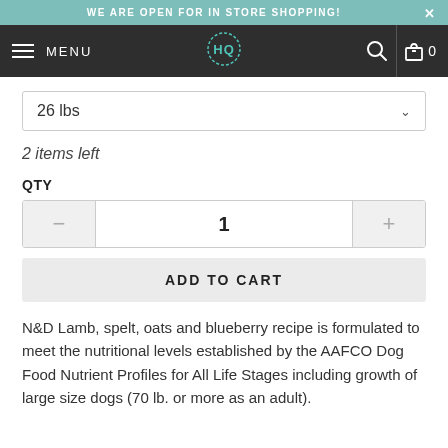WE ARE OPEN FOR IN STORE SHOPPING!
[Figure (screenshot): Navigation bar with hamburger menu, MENU text, HQ logo, search icon, cart icon with 0]
26 lbs
2 items left
QTY
1
ADD TO CART
N&D Lamb, spelt, oats and blueberry recipe is formulated to meet the nutritional levels established by the AAFCO Dog Food Nutrient Profiles for All Life Stages including growth of large size dogs (70 lb. or more as an adult).